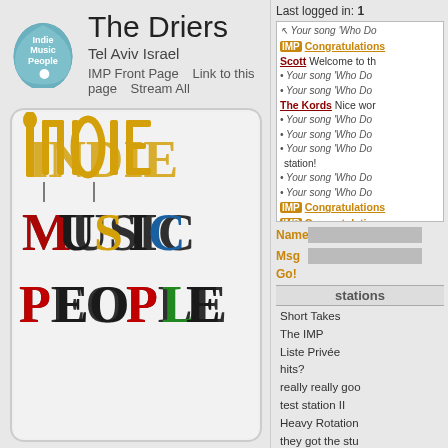[Figure (logo): Indie Music People guitar pick logo in teal/blue]
The Driers
Tel Aviv Israel
IMP Front Page   Link to this page   Stream All
[Figure (photo): Indie Music People logo made of people forming letters spelling INDIE MUSIC PEOPLE]
Last logged in: 1
Activity feed with messages about songs, IMP congratulations, and user welcome messages
Name [input] Msg [input] Go!
stations
Short Takes
The IMP
Liste Privée
hits?
really really goo
test station II
Heavy Rotation
they got the stu
Super Eclectic
Those Were T